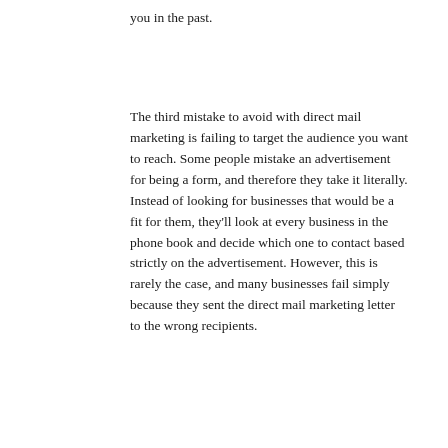you in the past.
The third mistake to avoid with direct mail marketing is failing to target the audience you want to reach. Some people mistake an advertisement for being a form, and therefore they take it literally. Instead of looking for businesses that would be a fit for them, they'll look at every business in the phone book and decide which one to contact based strictly on the advertisement. However, this is rarely the case, and many businesses fail simply because they sent the direct mail marketing letter to the wrong recipients.